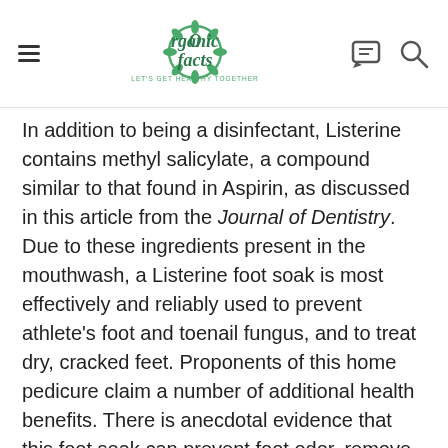Organic Facts — LET'S GET HEALTHY TOGETHER
In addition to being a disinfectant, Listerine contains methyl salicylate, a compound similar to that found in Aspirin, as discussed in this article from the Journal of Dentistry. Due to these ingredients present in the mouthwash, a Listerine foot soak is most effectively and reliably used to prevent athlete's foot and toenail fungus, and to treat dry, cracked feet. Proponents of this home pedicure claim a number of additional health benefits. There is anecdotal evidence that this foot soak can prevent foot odor, remove calluses, prevent other infections on the feet, and serve as a pain reliever. [2]
Recipe for Listerine Foot Soak